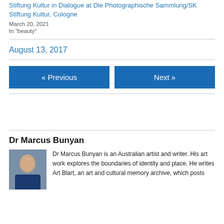Stiftung Kultur in Dialogue at Die Photographische Sammlung/SK Stiftung Kultur, Cologne
March 20, 2021
In "beauty"
August 13, 2017
« Previous
Next »
Dr Marcus Bunyan
Dr Marcus Bunyan is an Australian artist and writer. His art work explores the boundaries of identity and place. He writes Art Blart, an art and cultural memory archive, which posts